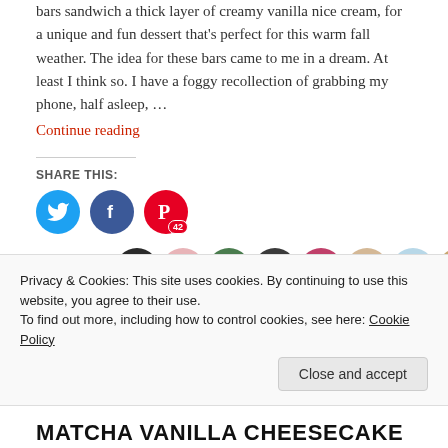bars sandwich a thick layer of creamy vanilla nice cream, for a unique and fun dessert that's perfect for this warm fall weather. The idea for these bars came to me in a dream. At least I think so. I have a foggy recollection of grabbing my phone, half asleep, …
Continue reading
SHARE THIS:
[Figure (infographic): Social share buttons: Twitter (blue circle with bird icon), Facebook (dark blue circle with f icon), Pinterest (red circle with P icon and badge showing 42)]
[Figure (infographic): Like button with blue star and 'Like' text, followed by a strip of 10 user avatar photos]
29 bloggers like this.
Privacy & Cookies: This site uses cookies. By continuing to use this website, you agree to their use.
To find out more, including how to control cookies, see here: Cookie Policy
Close and accept
MATCHA VANILLA CHEESECAKE